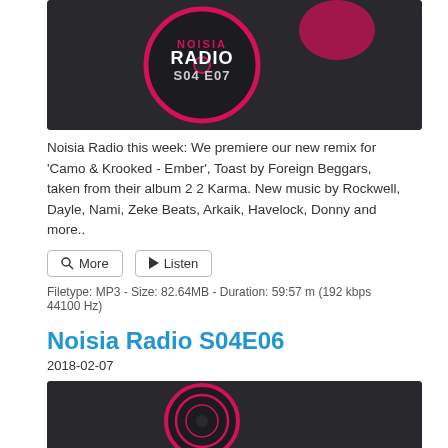[Figure (illustration): Noisia Radio S04E07 podcast cover image: dark circular vinyl-style graphic with pink/red border, 'NOISIA RADIO S04 E07' text on dark background]
Noisia Radio this week: We premiere our new remix for ‘Camo & Krooked - Ember’, Toast by Foreign Beggars, taken from their album 2 2 Karma. New music by Rockwell, Dayle, Nami, Zeke Beats, Arkaik, Havelock, Donny and more..
More  Listen
Filetype: MP3 - Size: 82.64MB - Duration: 59:57 m (192 kbps 44100 Hz)
Noisia Radio S04E06
2018-02-07
[Figure (illustration): Noisia Radio S04E06 podcast cover image, partially visible, dark circular vinyl-style graphic with pink/red concentric circles]